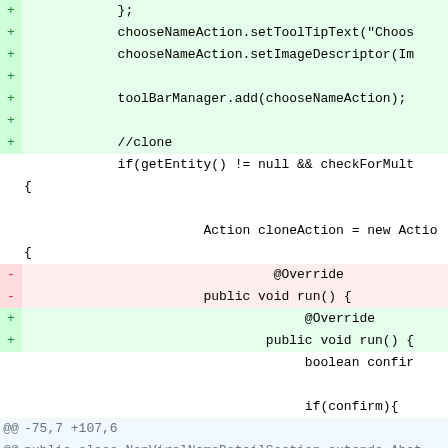Code diff showing Java source changes including chooseNameAction, toolBarManager, cloneAction with @Override and public void run() method changes, plus class NonViralNameDetailSection